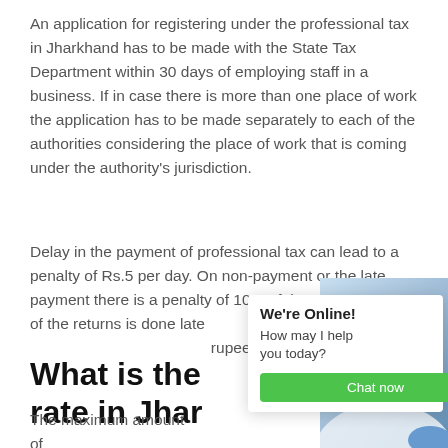An application for registering under the professional tax in Jharkhand has to be made with the State Tax Department within 30 days of employing staff in a business. If in case there is more than one place of work the application has to be made separately to each of the authorities considering the place of work that is coming under the authority's jurisdiction.
Delay in the payment of professional tax can lead to a penalty of Rs.5 per day. On non-payment or the late payment there is a penalty of 10% of the tax if the filing of the returns is done late [...] rupees.
What is the rate in Jhar...
The maximum amount of professional tax is Rs.2500. The slab amount is based on the
[Figure (other): Live chat widget overlay with 'We're Online!' heading, 'How may I help you today?' message, green 'Chat now' button, and photo of a customer service representative wearing a headset.]